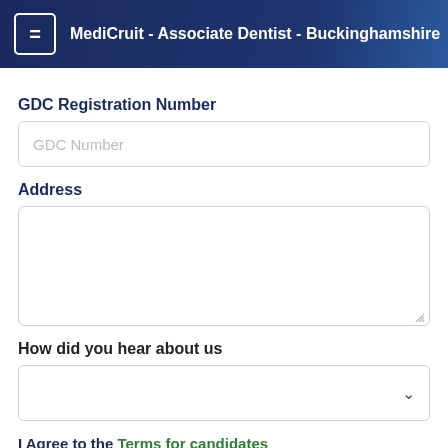MediCruit - Associate Dentist - Buckinghamshire
GDC Registration Number
GDC Number
Address
How did you hear about us
I Agree to the Terms for candidates